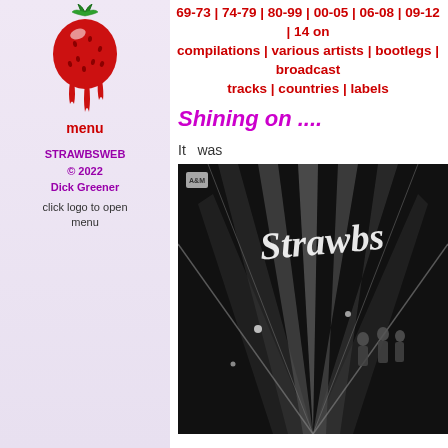69-73 | 74-79 | 80-99 | 00-05 | 06-08 | 09-12 | 14 on compilations | various artists | bootlegs | broadcast tracks | countries | labels
[Figure (logo): Strawberry logo dripping green]
menu
STRAWBSWEB © 2022 Dick Greener
click logo to open menu
Shining on ....
It   was
[Figure (photo): Black and white album cover for Strawbs - Shining On, with dramatic light rays and band members silhouette]